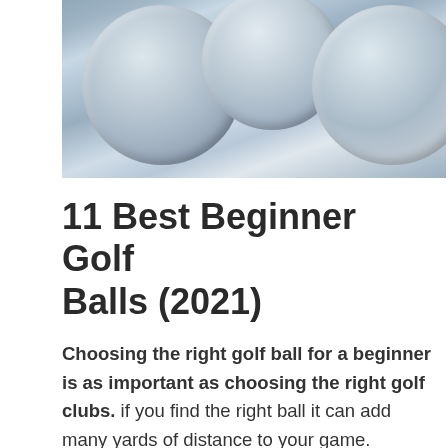[Figure (photo): Close-up photograph of multiple white golf balls clustered together, showing dimple texture patterns]
11 Best Beginner Golf Balls (2021)
Choosing the right golf ball for a beginner is as important as choosing the right golf clubs. if you find the right ball it can add many yards of distance to your game.